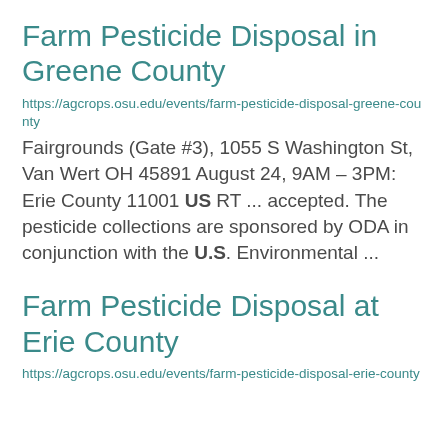Farm Pesticide Disposal in Greene County
https://agcrops.osu.edu/events/farm-pesticide-disposal-greene-county
Fairgrounds (Gate #3), 1055 S Washington St, Van Wert OH 45891 August 24, 9AM – 3PM: Erie County 11001 US RT ... accepted.  The pesticide collections are sponsored by ODA in conjunction with the U.S. Environmental ...
Farm Pesticide Disposal at Erie County
https://agcrops.osu.edu/events/farm-pesticide-disposal-erie-county